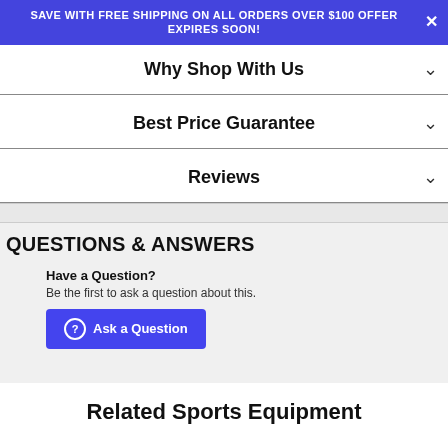SAVE WITH FREE SHIPPING ON ALL ORDERS OVER $100 OFFER EXPIRES SOON!
Why Shop With Us
Best Price Guarantee
Reviews
QUESTIONS & ANSWERS
Have a Question?
Be the first to ask a question about this.
Ask a Question
Related Sports Equipment